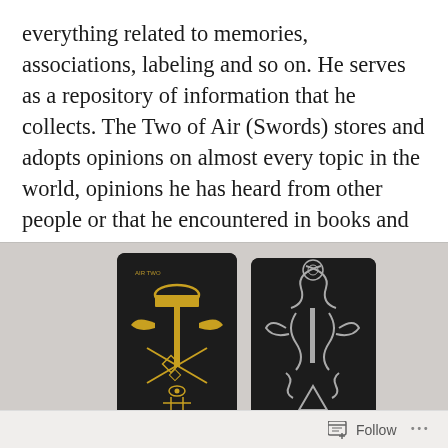everything related to memories, associations, labeling and so on. He serves as a repository of information that he collects. The Two of Air (Swords) stores and adopts opinions on almost every topic in the world, opinions he has heard from other people or that he encountered in books and newspapers.
[Figure (photo): Two black tarot cards side by side on a light grey surface. The left card shows a golden caduceus-like symbol with wings and geometric shapes. The right card shows similar imagery in silver/white outline.]
Follow ···